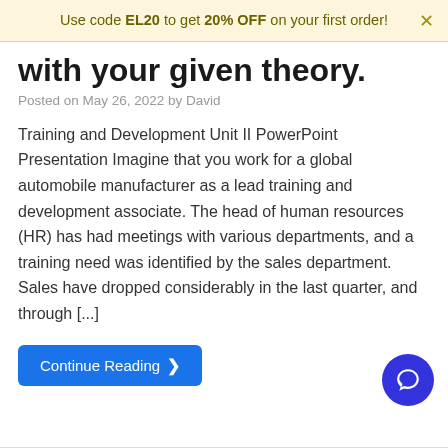Use code EL20 to get 20% OFF on your first order!
with your given theory.
Posted on May 26, 2022 by David
Training and Development Unit II PowerPoint Presentation Imagine that you work for a global automobile manufacturer as a lead training and development associate. The head of human resources (HR) has had meetings with various departments, and a training need was identified by the sales department. Sales have dropped considerably in the last quarter, and through [...]
Continue Reading >